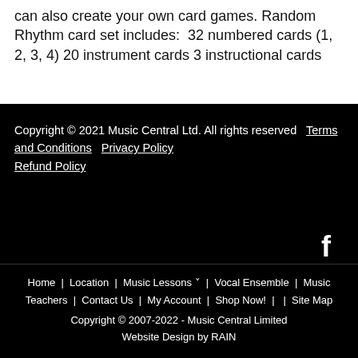can also create your own card games. Random Rhythm card set includes:  32 numbered cards (1, 2, 3, 4) 20 instrument cards 3 instructional cards
Copyright © 2021 Music Central Ltd. All rights reserved   Terms and Conditions   Privacy Policy   Refund Policy
Home  |  Location  |  Music Lessons  |  Vocal Ensemble  |  Music Teachers  |  Contact Us  |  My Account  |  Shop Now!  |  |  Site Map
Copyright © 2007-2022 - Music Central Limited Website Design by RAIN